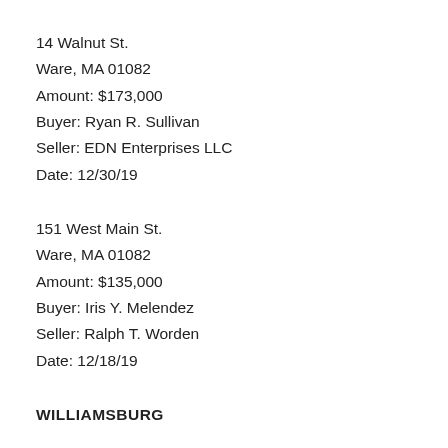14 Walnut St.
Ware, MA 01082
Amount: $173,000
Buyer: Ryan R. Sullivan
Seller: EDN Enterprises LLC
Date: 12/30/19
151 West Main St.
Ware, MA 01082
Amount: $135,000
Buyer: Iris Y. Melendez
Seller: Ralph T. Worden
Date: 12/18/19
WILLIAMSBURG